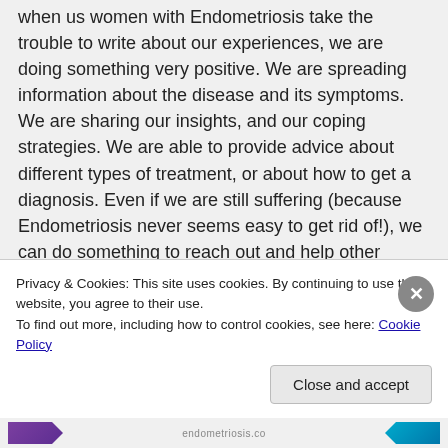when us women with Endometriosis take the trouble to write about our experiences, we are doing something very positive. We are spreading information about the disease and its symptoms. We are sharing our insights, and our coping strategies. We are able to provide advice about different types of treatment, or about how to get a diagnosis. Even if we are still suffering (because Endometriosis never seems easy to get rid of!), we can do something to reach out and help other women with this debilitating disorder.

I totally get where you are coming from in respect of the fatigue that goes alongside Endometriosis. I totally appreciate your attempts to explain why Endometriosis makes women feel this way – a lot of
Privacy & Cookies: This site uses cookies. By continuing to use this website, you agree to their use.
To find out more, including how to control cookies, see here: Cookie Policy
Close and accept